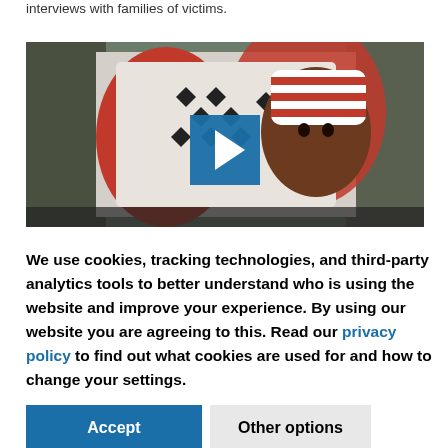interviews with families of victims.
[Figure (screenshot): Video thumbnail showing a young child wearing a red and white striped hat/headwear, with a blue play button overlay in the center, against a background with black diamond shapes on white fabric.]
We use cookies, tracking technologies, and third-party analytics tools to better understand who is using the website and improve your experience. By using our website you are agreeing to this. Read our privacy policy to find out what cookies are used for and how to change your settings.
Accept
Other options